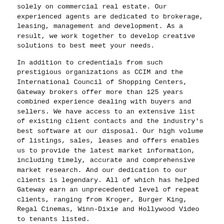solely on commercial real estate. Our experienced agents are dedicated to brokerage, leasing, management and development. As a result, we work together to develop creative solutions to best meet your needs.
In addition to credentials from such prestigious organizations as CCIM and the International Council of Shopping Centers, Gateway brokers offer more than 125 years combined experience dealing with buyers and sellers. We have access to an extensive list of existing client contacts and the industry's best software at our disposal. Our high volume of listings, sales, leases and offers enables us to provide the latest market information, including timely, accurate and comprehensive market research. And our dedication to our clients is legendary. All of which has helped Gateway earn an unprecedented level of repeat clients, ranging from Kroger, Burger King, Regal Cinemas, Winn-Dixie and Hollywood Video to tenants listed.
What can we do for you?